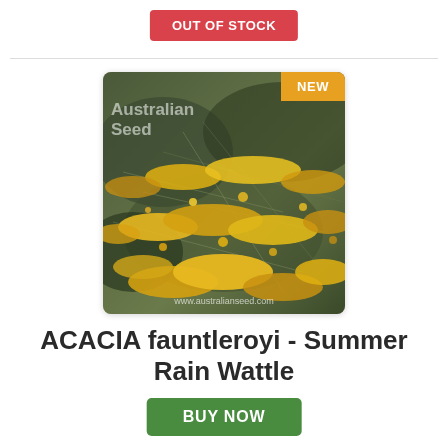OUT OF STOCK
[Figure (photo): Photo of Acacia fauntleroyi (Summer Rain Wattle) showing yellow flowering branches with fine green foliage. Has 'Australian Seed' watermark text and 'NEW' badge in top right corner. URL watermark at bottom: www.australianseed.com]
ACACIA fauntleroyi - Summer Rain Wattle
$4.25
BUY NOW